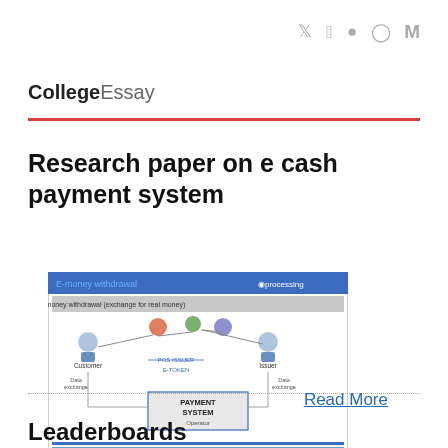Twitter · Facebook · Snapchat · Instagram · M (Medium)
CollegeEssay
Research paper on e cash payment system
[Figure (schematic): Diagram of E-money withdrawal process showing Customer, Issuer, POS Issuer, Data exchange nodes, and PAYMENT SYSTEM Operator, labeled as 'processing']
Read More
Leaderboards